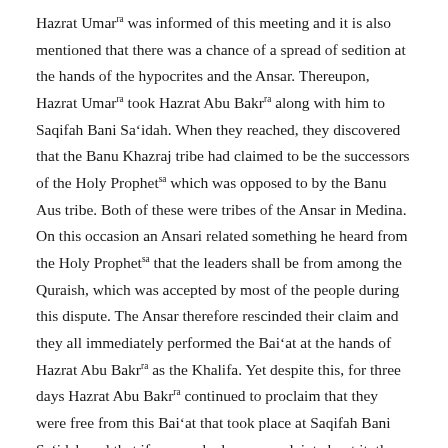Hazrat Umar^ra was informed of this meeting and it is also mentioned that there was a chance of a spread of sedition at the hands of the hypocrites and the Ansar. Thereupon, Hazrat Umar^ra took Hazrat Abu Bakr^ra along with him to Saqifah Bani Sa'idah. When they reached, they discovered that the Banu Khazraj tribe had claimed to be the successors of the Holy Prophet^sa which was opposed to by the Banu Aus tribe. Both of these were tribes of the Ansar in Medina. On this occasion an Ansari related something he heard from the Holy Prophet^sa that the leaders shall be from among the Quraish, which was accepted by most of the people during this dispute. The Ansar therefore rescinded their claim and they all immediately performed the Bai'at at the hands of Hazrat Abu Bakr^ra as the Khalifa. Yet despite this, for three days Hazrat Abu Bakr^ra continued to proclaim that they were free from this Bai'at that took place at Saqifah Bani Sa'idah and that if anyone had any complaint about it, they should raise it now. Yet no one had any protest to this. This was an extract from the book of Dr